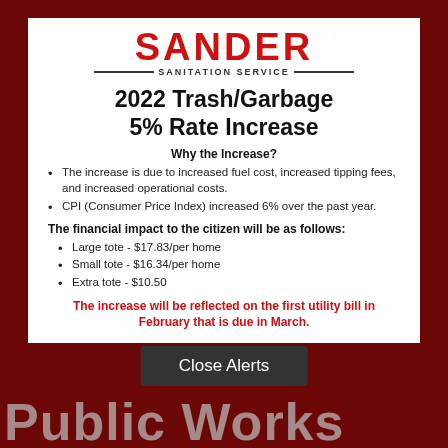[Figure (logo): Sander Sanitation Service logo with red bold SANDER text and SANITATION SERVICE subtitle with horizontal lines]
2022 Trash/Garbage 5% Rate Increase
Why the Increase?
The increase is due to increased fuel cost, increased tipping fees, and increased operational costs.
CPI (Consumer Price Index) increased 6% over the past year.
The financial impact to the citizen will be as follows:
Large tote - $17.83/per home
Small tote - $16.34/per home
Extra tote - $10.50
The increase will be reflected on the first utility bill in February that is due in March.
[Figure (logo): Box Elder city logo - cursive text with arrow]
Close Alerts
Public Works